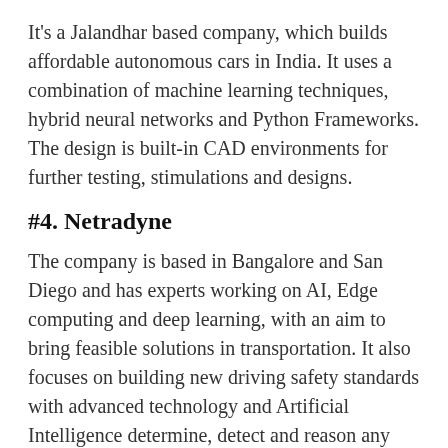It's a Jalandhar based company, which builds affordable autonomous cars in India. It uses a combination of machine learning techniques, hybrid neural networks and Python Frameworks. The design is built-in CAD environments for further testing, stimulations and designs.
#4. Netradyne
The company is based in Bangalore and San Diego and has experts working on AI, Edge computing and deep learning, with an aim to bring feasible solutions in transportation. It also focuses on building new driving safety standards with advanced technology and Artificial Intelligence determine, detect and reason any casual events which may lead to accidents.
#5. Giscle System
It's a Bangalore based self-driven company that focuses on developing autonomous systems with the help of